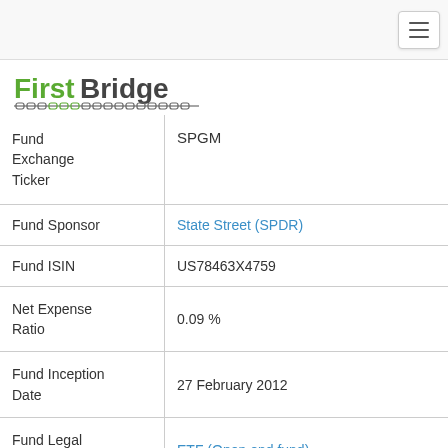FirstBridge [navigation menu]
[Figure (logo): FirstBridge logo with green 'First' text and grey 'Bridge' text, with a bridge/chain graphic underneath]
| Field | Value |
| --- | --- |
| Fund Exchange Ticker | SPGM |
| Fund Sponsor | State Street (SPDR) |
| Fund ISIN | US78463X4759 |
| Net Expense Ratio | 0.09 % |
| Fund Inception Date | 27 February 2012 |
| Fund Legal Structure | ETF (Open end fund) |